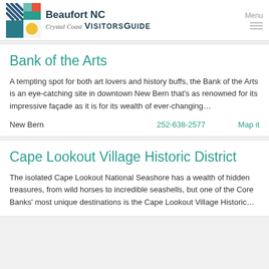Beaufort NC Crystal Coast VisitorsGuide
Bank of the Arts
A tempting spot for both art lovers and history buffs, the Bank of the Arts is an eye-catching site in downtown New Bern that's as renowned for its impressive façade as it is for its wealth of ever-changing...
New Bern    252-638-2577    Map it
Cape Lookout Village Historic District
The isolated Cape Lookout National Seashore has a wealth of hidden treasures, from wild horses to incredible seashells, but one of the Core Banks' most unique destinations is the Cape Lookout Village Historic...